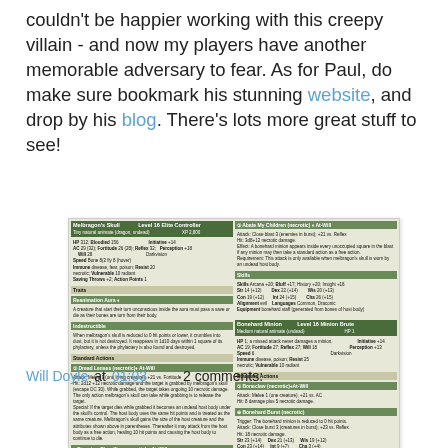couldn't be happier working with this creepy villain - and now my players have another memorable adversary to fear. As for Paul, do make sure bookmark his stunning website, and drop by his blog. There's lots more great stuff to see!
[Figure (other): Screenshot of a tabletop RPG stat block for 'Melbragon's Skull' Level 16 Elite Controller, showing game statistics, abilities, traits, and standard attacks in a two-column green-themed layout, along with a Bonehard Minion Level 16 Minion Brute stat block.]
Will Doyle at 01:03   2 comments:
Share